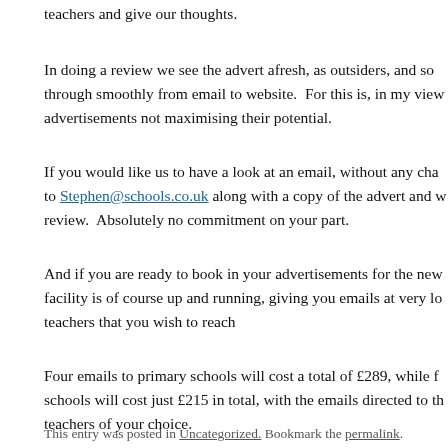teachers and give our thoughts.
In doing a review we see the advert afresh, as outsiders, and so through smoothly from email to website.  For this is, in my view advertisements not maximising their potential.
If you would like us to have a look at an email, without any charge, to Stephen@schools.co.uk along with a copy of the advert and w review.  Absolutely no commitment on your part.
And if you are ready to book in your advertisements for the new facility is of course up and running, giving you emails at very lo teachers that you wish to reach
Four emails to primary schools will cost a total of £289, while f schools will cost just £215 in total, with the emails directed to th teachers of your choice.
This entry was posted in Uncategorized. Bookmark the permalink.